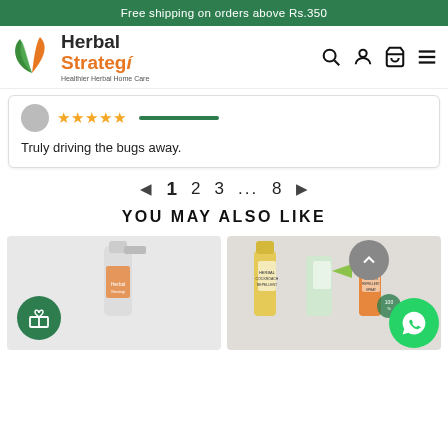Free shipping on orders above Rs.350
[Figure (logo): Herbal Strategi logo with green and orange leaf design and tagline 'Healthier Herbal Home Care']
[Figure (other): Navigation icons: search, user/account, cart, hamburger menu]
[Figure (other): Review card with avatar, star rating, green progress bar]
Truly driving the bugs away.
◄ 1 2 3 ... 8 ►
YOU MAY ALSO LIKE
[Figure (photo): Product thumbnails row showing Herbal Strategi spray bottles and cockroach repellent products with gift circle icon, scroll-up button, and WhatsApp button]